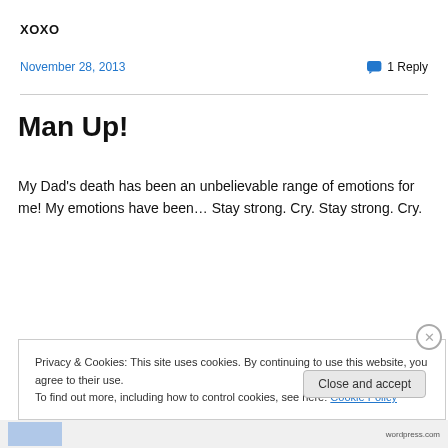XOXO
November 28, 2013   💬 1 Reply
Man Up!
My Dad's death has been an unbelievable range of emotions for me! My emotions have been… Stay strong. Cry. Stay strong. Cry.
Privacy & Cookies: This site uses cookies. By continuing to use this website, you agree to their use. To find out more, including how to control cookies, see here: Cookie Policy